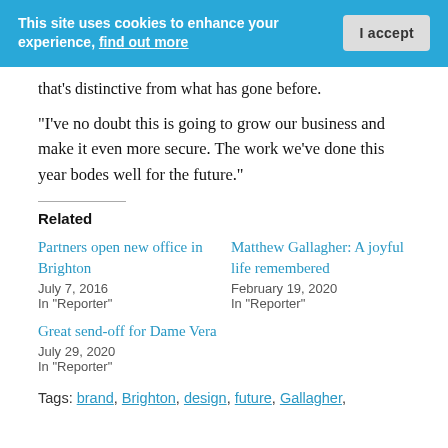This site uses cookies to enhance your experience, find out more  |  I accept
that's distinctive from what has gone before.
“I’ve no doubt this is going to grow our business and make it even more secure. The work we’ve done this year bodes well for the future.”
Related
Partners open new office in Brighton
July 7, 2016
In “Reporter”
Matthew Gallagher: A joyful life remembered
February 19, 2020
In “Reporter”
Great send-off for Dame Vera
July 29, 2020
In “Reporter”
Tags: brand, Brighton, design, future, Gallagher,